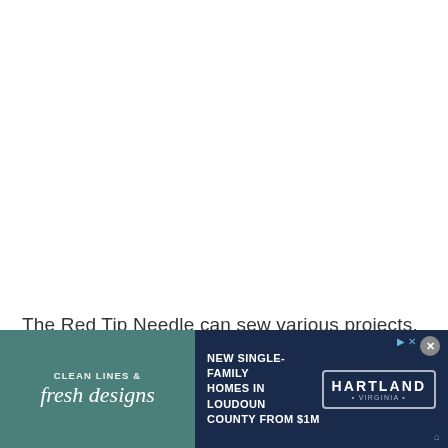The Red Tip Needle can sew various projects, which call for a Universal needle. However, they differ in the size of the eye, which is more significant in the Red Tip needle, which is an advantage when
[Figure (other): Advertisement banner. Left side: teal/green background with text 'CLEAN LINES & fresh designs'. Right side: dark navy background with text 'NEW SINGLE-FAMILY HOMES IN LOUDOUN COUNTY FROM $1M' and a logo box reading 'HARTLAND • VIRGINIA •'. Close button and AdChoices icon in upper right corner.]